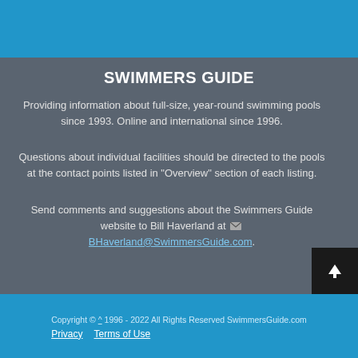SWIMMERS GUIDE
Providing information about full-size, year-round swimming pools since 1993. Online and international since 1996.
Questions about individual facilities should be directed to the pools at the contact points listed in "Overview" section of each listing.
Send comments and suggestions about the Swimmers Guide website to Bill Haverland at BHaverland@SwimmersGuide.com.
Copyright © ^ 1996 - 2022 All Rights Reserved SwimmersGuide.com Privacy  Terms of Use